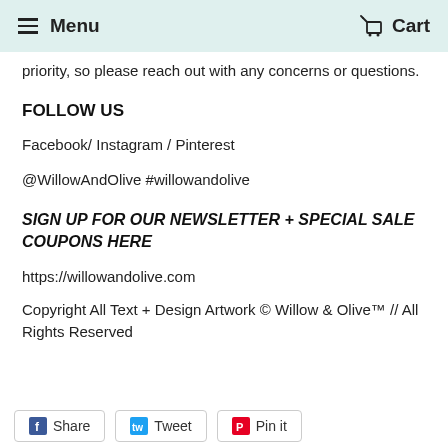Menu   Cart
priority, so please reach out with any concerns or questions.
FOLLOW US
Facebook/ Instagram / Pinterest
@WillowAndOlive #willowandolive
SIGN UP FOR OUR NEWSLETTER + SPECIAL SALE COUPONS HERE
https://willowandolive.com
Copyright All Text + Design Artwork © Willow & Olive™ // All Rights Reserved
Share   Tweet   Pin it